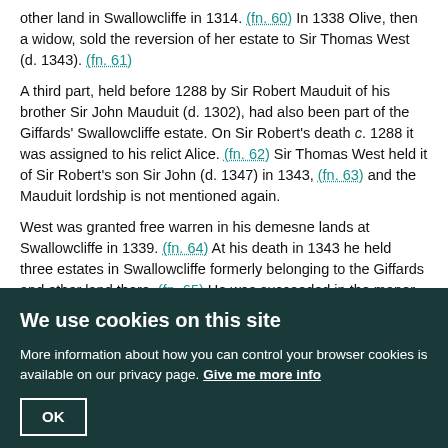other land in Swallowcliffe in 1314. (fn. 60) In 1338 Olive, then a widow, sold the reversion of her estate to Sir Thomas West (d. 1343). (fn. 61)
A third part, held before 1288 by Sir Robert Mauduit of his brother Sir John Mauduit (d. 1302), had also been part of the Giffards' Swallowcliffe estate. On Sir Robert's death c. 1288 it was assigned to his relict Alice. (fn. 62) Sir Thomas West held it of Sir Robert's son Sir John (d. 1347) in 1343, (fn. 63) and the Mauduit lordship is not mentioned again.
West was granted free warren in his demesne lands at Swallowcliffe in 1339. (fn. 64) At his death in 1343 he held three estates in Swallowcliffe formerly belonging to the Giffards and other land there. (fn. 65) He was succeeded in the manor of SWALLOWCLIFFE by his son Sir Thomas (d. 1386), (fn. 66) and Sir Thomas's son Thomas, Lord West (d. 1405). (fn. 67) The manor was settled from 1408 on Lord West's younger son Reynold, Lord la Warre and Lord West (d. 1450). (fn. 68) From Reynold it passed in the direct male line of the West family with the la Warre and West titles to Richard (d. 1476), (fn. 69) and Thomas (d. 1525). (fn. 70) That Thomas in 1517 settled it on his son Thomas (d. 1554), (fn. 71) who sold it in 1544 to John, later Sir John, Mervyn (d. 1566). (fn. 72) Sir John's son Sir James (d. 1611) was succeeded by his
We use cookies on this site
More information about how you can control your browser cookies is available on our privacy page. Give me more info
OK